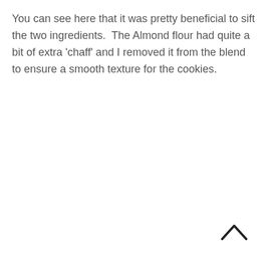You can see here that it was pretty beneficial to sift the two ingredients.  The Almond flour had quite a bit of extra 'chaff' and I removed it from the blend to ensure a smooth texture for the cookies.
[Figure (other): An upward-pointing chevron/caret icon (^) used as a scroll-to-top button, located in the lower right area of the page.]